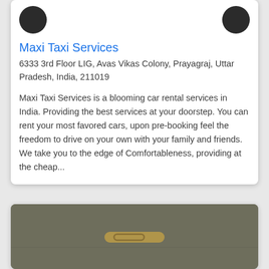Maxi Taxi Services
6333 3rd Floor LIG, Avas Vikas Colony, Prayagraj, Uttar Pradesh, India, 211019
Maxi Taxi Services is a blooming car rental services in India. Providing the best services at your doorstep. You can rent your most favored cars, upon pre-booking feel the freedom to drive on your own with your family and friends. We take you to the edge of Comfortableness, providing at the cheap...
[Figure (photo): Photo showing a car interior/exterior detail, appearing to be a door handle area against a dark olive/khaki background]